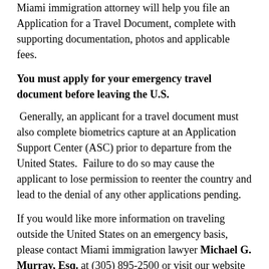Miami immigration attorney will help you file an Application for a Travel Document, complete with supporting documentation, photos and applicable fees.
You must apply for your emergency travel document before leaving the U.S.
Generally, an applicant for a travel document must also complete biometrics capture at an Application Support Center (ASC) prior to departure from the United States.  Failure to do so may cause the applicant to lose permission to reenter the country and lead to the denial of any other applications pending.
If you would like more information on traveling outside the United States on an emergency basis, please contact Miami immigration lawyer Michael G. Murray, Esq. at (305) 895-2500 or visit our website at www.mmurraylaw.com.